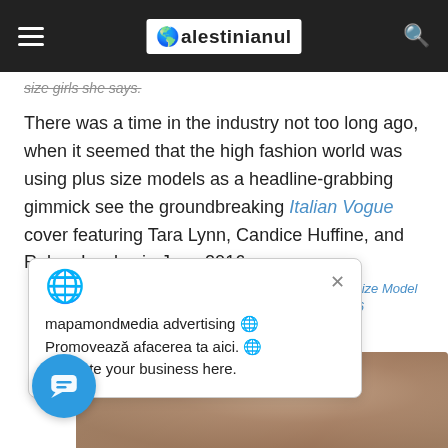Palestinianul
size girls she says.
There was a time in the industry not too long ago, when it seemed that the high fashion world was using plus size models as a headline-grabbing gimmick see the groundbreaking Italian Vogue cover featuring Tara Lynn, Candice Huffine, and Robyn Lawley in June 2016.
mapamondмedia advertising 🌐
Promovează afacerea ta aici. 🌐
Promote your business here.
us-Size Model 2016
[Figure (photo): Partial view of background image showing warm-toned objects, bottom portion of page]